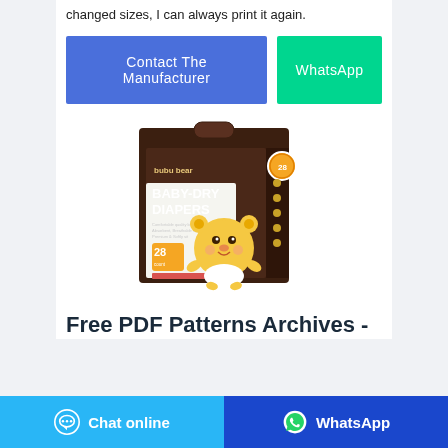changed sizes, I can always print it again.
Contact The Manufacturer
WhatsApp
[Figure (photo): Product photo of bubu bear Baby-Dry Diapers box, brown packaging, 28 count, with a cartoon bear mascot]
Free PDF Patterns Archives -
Chat online
WhatsApp